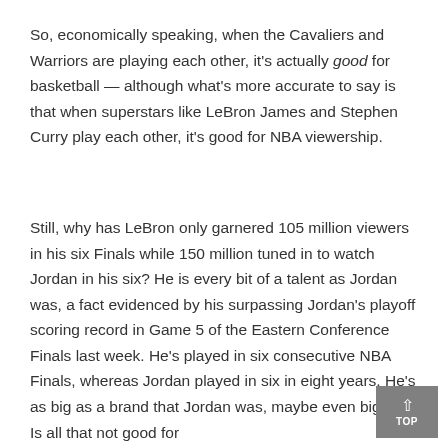So, economically speaking, when the Cavaliers and Warriors are playing each other, it's actually good for basketball — although what's more accurate to say is that when superstars like LeBron James and Stephen Curry play each other, it's good for NBA viewership.
Still, why has LeBron only garnered 105 million viewers in his six Finals while 150 million tuned in to watch Jordan in his six? He is every bit of a talent as Jordan was, a fact evidenced by his surpassing Jordan's playoff scoring record in Game 5 of the Eastern Conference Finals last week. He's played in six consecutive NBA Finals, whereas Jordan played in six in eight years. He's as big as a brand that Jordan was, maybe even bigger. Is all that not good for